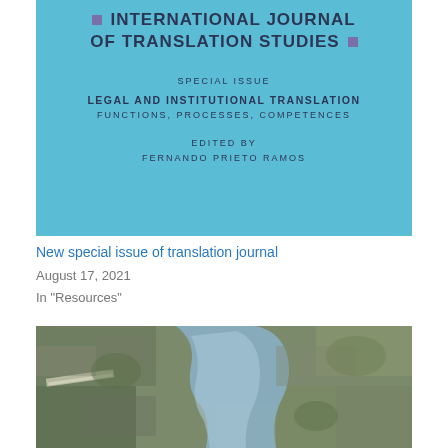[Figure (photo): Cover of the International Journal of Translation Studies, Special Issue on Legal and Institutional Translation: Functions, Processes, Competences, edited by Fernando Prieto Ramos. Light blue cover with journal title in bold dark letters.]
New special issue of translation journal
August 17, 2021
In "Resources"
[Figure (photo): Aerial satellite photograph of a coastal city area showing a bay or estuary, urban development, green areas, and what appears to be an airport runway on the left side.]